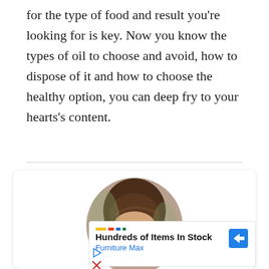for the type of food and result you're looking for is key. Now you know the types of oil to choose and avoid, how to dispose of it and how to choose the healthy option, you can deep fry to your hearts's content.
[Figure (photo): Circular portrait photo of a young woman with brown wavy hair, smiling, set within a white card with rounded corners and subtle shadow.]
[Figure (screenshot): Advertisement box showing 'Hundreds of Items In Stock' with 'Furniture Max' in blue text, a blue diamond arrow icon, a colored logo bar, and playback/close controls.]